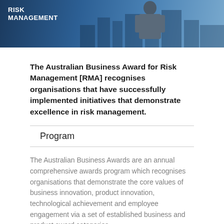[Figure (photo): Hero image with dark blue cityscape background and white text reading RISK MANAGEMENT in bold uppercase, with a silhouette of a person in a suit]
The Australian Business Award for Risk Management [RMA] recognises organisations that have successfully implemented initiatives that demonstrate excellence in risk management.
Program
The Australian Business Awards are an annual comprehensive awards program which recognises organisations that demonstrate the core values of business innovation, product innovation, technological achievement and employee engagement via a set of established business and product award categories.
The Australian Business Awards are the national chapter of an integrated, hierarchical leadership initiative conducted on a national and international